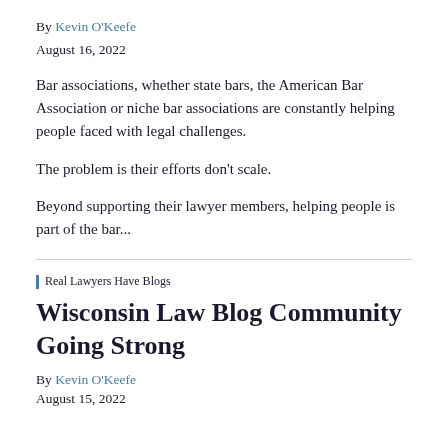By Kevin O'Keefe
August 16, 2022
Bar associations, whether state bars, the American Bar Association or niche bar associations are constantly helping people faced with legal challenges.
The problem is their efforts don't scale.
Beyond supporting their lawyer members, helping people is part of the bar...
Real Lawyers Have Blogs
Wisconsin Law Blog Community Going Strong
By Kevin O'Keefe
August 15, 2022